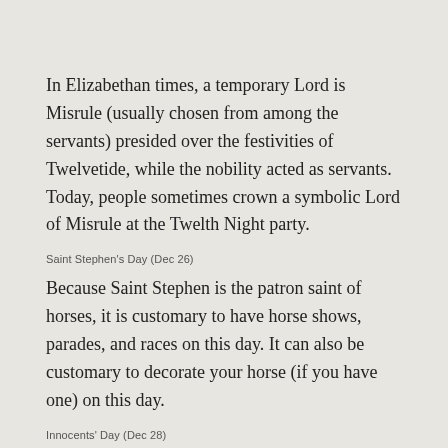The Lord of Misrule
Through the Wildwood
In Elizabethan times, a temporary Lord is Misrule (usually chosen from among the servants) presided over the festivities of Twelvetide, while the nobility acted as servants. Today, people sometimes crown a symbolic Lord of Misrule at the Twelth Night party.
Saint Stephen's Day (Dec 26)
Because Saint Stephen is the patron saint of horses, it is customary to have horse shows, parades, and races on this day. It can also be customary to decorate your horse (if you have one) on this day.
Innocents' Day (Dec 28)
Many religious communities celebrated their youngest members on this day. It would be customary to give the youngest of the party a special place at the table and serve them this day. This tradition also comes to with